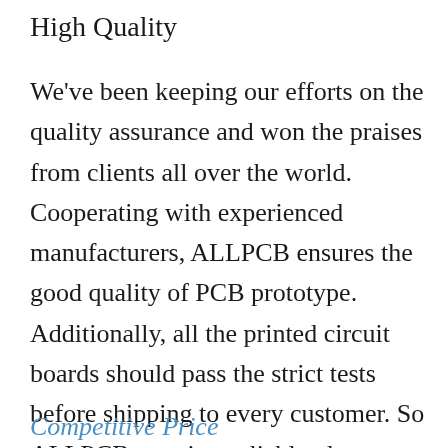High Quality
We've been keeping our efforts on the quality assurance and won the praises from clients all over the world. Cooperating with experienced manufacturers, ALLPCB ensures the good quality of PCB prototype. Additionally, all the printed circuit boards should pass the strict tests before shipping to every customer. So ALLPCB.com is a reliable place to buy PCB prototype.
Competitive Price